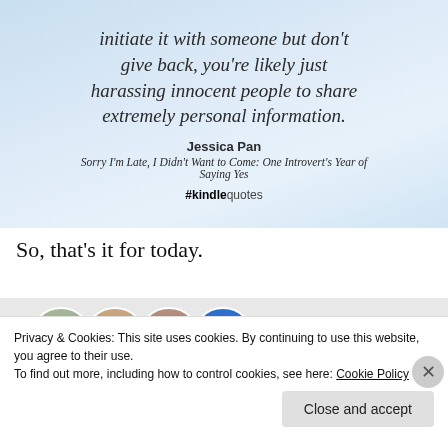[Figure (illustration): Quote image with light blue gradient background. Italic handwritten-style text reads: 'initiate it with someone but don't give back, you're likely just harassing innocent people to share extremely personal information.' Below: bold author name 'Jessica Pan', italic book title 'Sorry I'm Late, I Didn't Want to Come: One Introvert's Year of Saying Yes', and hashtag '#kindlequotes'.]
So, that's it for today.
[Figure (photo): Row of circular avatar photos: a woman with dark hair on green background, a woman with brown wavy hair, a man, and a blue circle with an 'i' icon, partially visible.]
Privacy & Cookies: This site uses cookies. By continuing to use this website, you agree to their use.
To find out more, including how to control cookies, see here: Cookie Policy
Close and accept